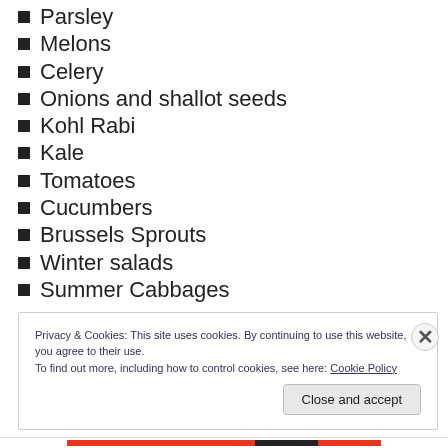Parsley
Melons
Celery
Onions and shallot seeds
Kohl Rabi
Kale
Tomatoes
Cucumbers
Brussels Sprouts
Winter salads
Summer Cabbages
Privacy & Cookies: This site uses cookies. By continuing to use this website, you agree to their use. To find out more, including how to control cookies, see here: Cookie Policy
Close and accept